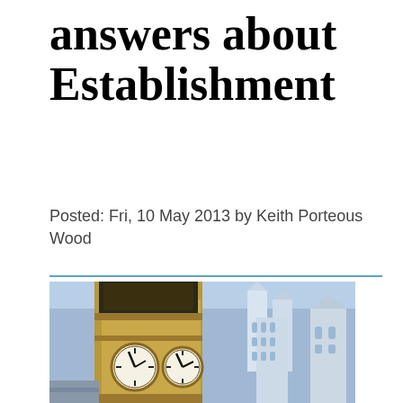answers about Establishment
Posted: Fri, 10 May 2013 by Keith Porteous Wood
[Figure (photo): Aerial photograph of Big Ben clock tower and Westminster Abbey in London, with blue-tinted cityscape in the background]